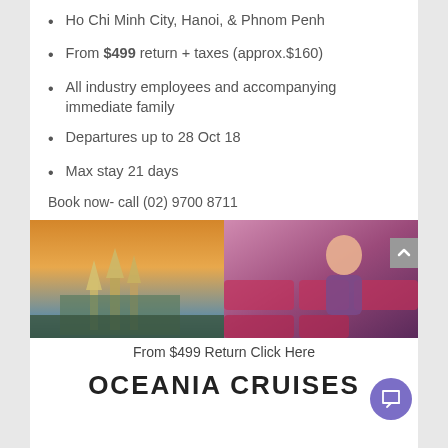Ho Chi Minh City, Hanoi, & Phnom Penh
From $499 return + taxes (approx.$160)
All industry employees and accompanying immediate family
Departures up to 28 Oct 18
Max stay 21 days
Book now- call (02) 9700 8711
[Figure (photo): Two side-by-side photos: left shows Thai temple complex (Grand Palace Bangkok) at sunset with golden spires; right shows a Thai Airways flight attendant in purple uniform inside an aircraft cabin with red/purple seats]
From $499 Return Click Here
OCEANIA CRUISES